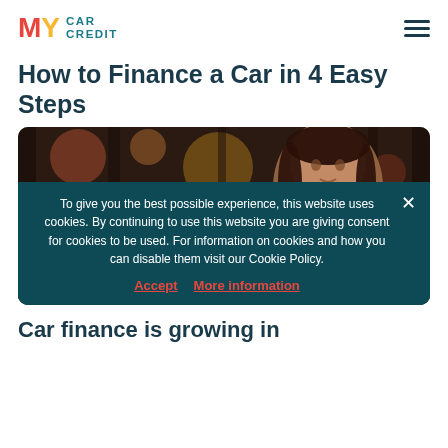MY CAR CREDIT
How to Finance a Car in 4 Easy Steps
[Figure (photo): A young woman smiling, photographed in a bokeh background with warm tones, representing a car finance customer.]
To give you the best possible experience, this website uses cookies. By continuing to use this website you are giving consent for cookies to be used. For information on cookies and how you can disable them visit our Cookie Policy.
Accept   More information
Car finance is growing in